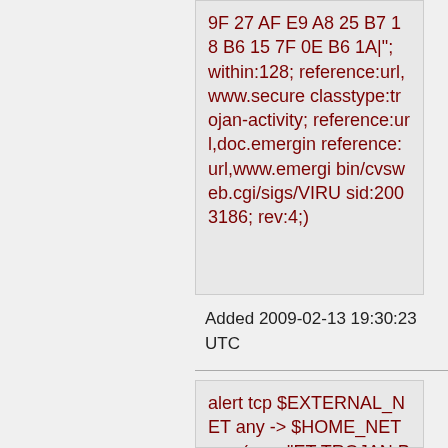9F 27 AF E9 A8 25 B7 18 B6 15 7F 0E B6 1A|"; within:128; reference:url,www.secure classtype:trojan-activity; reference:url,doc.emergin reference:url,www.emergi bin/cvsweb.cgi/sigs/VIRU sid:2003186; rev:4;)
Added 2009-02-13 19:30:23 UTC
alert tcp $EXTERNAL_NET any -> $HOME_NET any (msg:"ET TROJAN Prg Trojan v0.3 Binary In